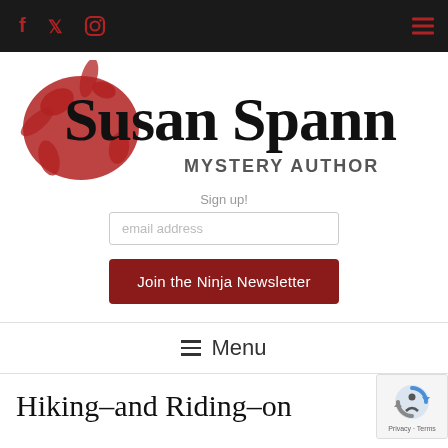Navigation bar with social icons (Facebook, Twitter, Instagram) and hamburger menu
[Figure (logo): Susan Spann Mystery Author logo with red ink splat and handwritten-style text]
Sign up!
email address
Join the Ninja Newsletter
Menu
Hiking–and Riding–on